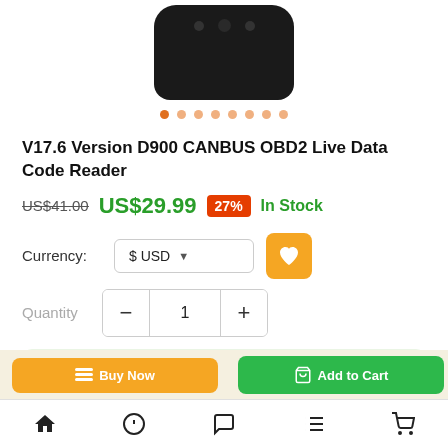[Figure (photo): Black OBD2 device (D900 CANBUS code reader) shown from top, dark rounded rectangular shape with dots/sensors visible]
V17.6 Version D900 CANBUS OBD2 Live Data Code Reader
US$41.00 US$29.99 27% In Stock
Currency: $ USD
Quantity 1
D900 CANBUS OBD2 Code Reader 2015 Version
[Figure (screenshot): Bottom action bar with Buy Now (orange) and Add to Cart (green) buttons, and bottom navigation bar with home, help, chat, list, cart icons]